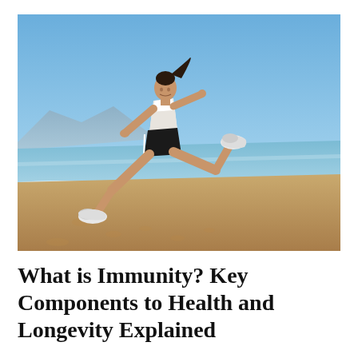[Figure (photo): A woman in white tank top and black shorts leaping mid-air on a sandy beach with calm blue ocean and clear sky in the background.]
What is Immunity? Key Components to Health and Longevity Explained